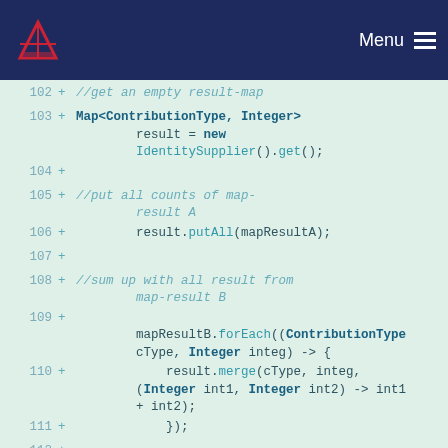Menu
[Figure (screenshot): Code diff view showing Java code lines 102-113 with line numbers, plus signs, and syntax-highlighted code on a light green background.]